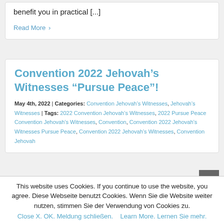benefit you in practical [...]
Read More >
Convention 2022 Jehovah’s Witnesses “Pursue Peace”!
May 4th, 2022 | Categories: Convention Jehovah’s Witnesses, Jehovah’s Witnesses | Tags: 2022 Convention Jehovah’s Witnesses, 2022 Pursue Peace Convention Jehovah’s Witnesses, Convention, Convention 2022 Jehovah’s Witnesses Pursue Peace, Convention 2022 Jehovah’s Witnesses, Convention Jehovah
This website uses Cookies. If you continue to use the website, you agree. Diese Webseite benutzt Cookies. Wenn Sie die Website weiter nutzen, stimmen Sie der Verwendung von Cookies zu.
Close X. OK. Meldung schließen.    Learn More. Lernen Sie mehr.